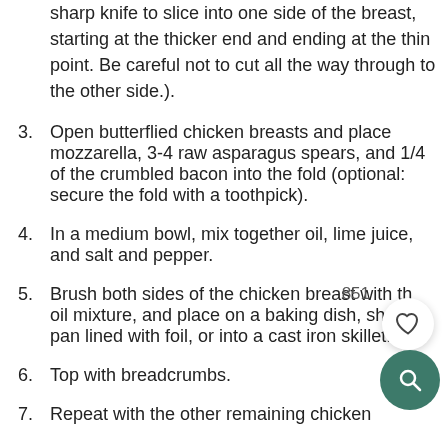sharp knife to slice into one side of the breast, starting at the thicker end and ending at the thin point. Be careful not to cut all the way through to the other side.).
3. Open butterflied chicken breasts and place mozzarella, 3-4 raw asparagus spears, and 1/4 of the crumbled bacon into the fold (optional: secure the fold with a toothpick).
4. In a medium bowl, mix together oil, lime juice, and salt and pepper.
5. Brush both sides of the chicken breast with the oil mixture, and place on a baking dish, sheet pan lined with foil, or into a cast iron skillet.
6. Top with breadcrumbs.
7. Repeat with the other remaining chicken